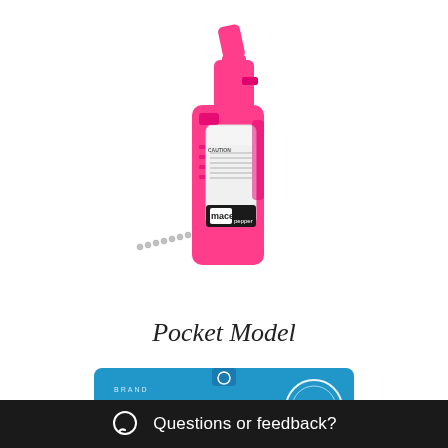[Figure (photo): Pink Mace brand pepper spray pocket model with a keychain ball chain attached, shown from a slight angle. The spray has a flip-top safety cap, a pistol-grip handle in bright pink, a clear/white label canister with 'CAUTION' text and 'mace pepper' branding visible.]
Pocket Model
[Figure (photo): Bottom portion of a Mace brand product retail card with blue background, showing the Mace logo and an authentication mark.]
Questions or feedback?